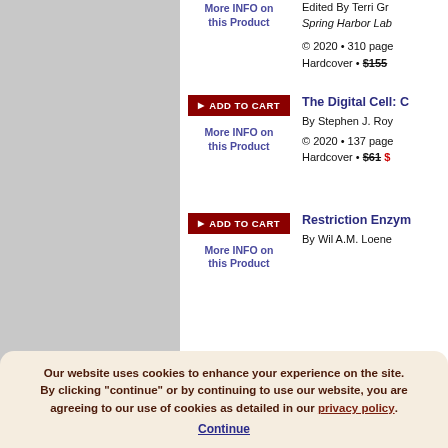More INFO on this Product
Edited By Terri Gr... • Spring Harbor Lab
© 2020 • 310 pages • Hardcover • $155
[Figure (other): ADD TO CART button (dark red)]
More INFO on this Product
The Digital Cell: C...
By Stephen J. Roy...
© 2020 • 137 pages • Hardcover • $61 $[sale price]
[Figure (other): ADD TO CART button (dark red)]
More INFO on this Product
Restriction Enzym...
By Wil A.M. Loene...
Our website uses cookies to enhance your experience on the site. By clicking "continue" or by continuing to use our website, you are agreeing to our use of cookies as detailed in our privacy policy. Continue